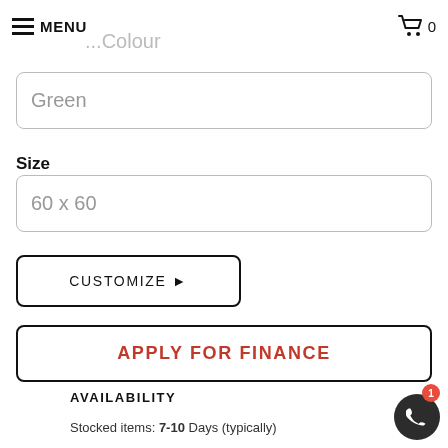MENU   0
...Colour
Green
Size
60 x 60
CUSTOMIZE ▶
APPLY FOR FINANCE
AVAILABILITY
Stocked items: 7-10 Days (typically)
Special order items: Delivery times vary